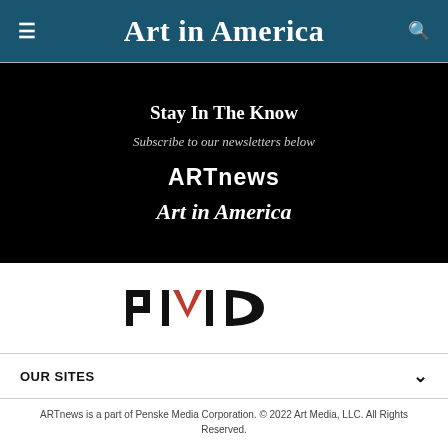Art in America
Stay In The Know
Subscribe to our newsletters below
ARTnews
Art in America
[Figure (logo): PMC logo — letters P, M (with red chevron accent), C in bold sans-serif, black]
OUR SITES
ARTnews is a part of Penske Media Corporation. © 2022 Art Media, LLC. All Rights Reserved.